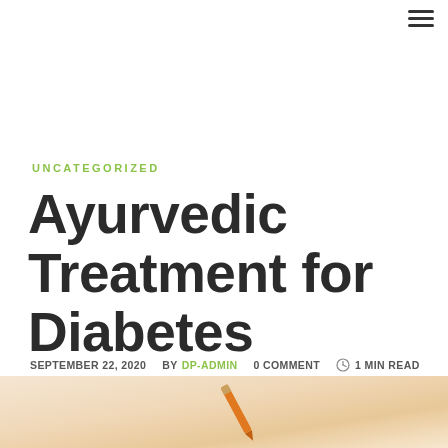☰
UNCATEGORIZED
Ayurvedic Treatment for Diabetes
SEPTEMBER 22, 2020   BY DP-ADMIN   0 COMMENT   1 MIN READ
[Figure (photo): Bottom portion of a photo showing what appears to be a pencil or pen on a light beige/cream background, partially visible at the bottom of the page.]